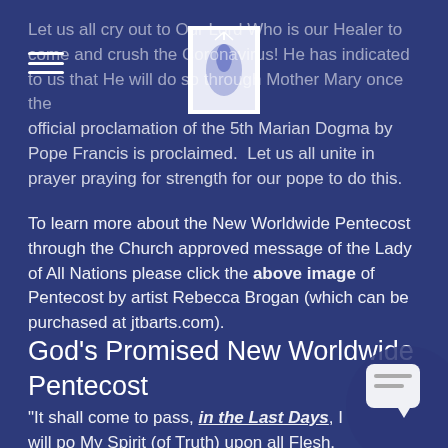Let us all cry out to Our Lord Who is our Healer to come and crush the Coronavirus! He has indicated to us that He will do so through Mother Mary once the official proclamation of the 5th Marian Dogma by Pope Francis is proclaimed.  Let us all unite in prayer praying for strength for our pope to do this.
[Figure (illustration): Small square image with white background showing an artistic depiction, possibly related to Pentecost (blue/white tones), positioned at top center of page]
To learn more about the New Worldwide Pentecost through the Church approved message of the Lady of All Nations please click the above image of Pentecost by artist Rebecca Brogan (which can be purchased at jtbarts.com).
God's Promised New Worldwide Pentecost
"It shall come to pass, in the Last Days, I will po My Spirit (of Truth) upon all Flesh.  Your sons and